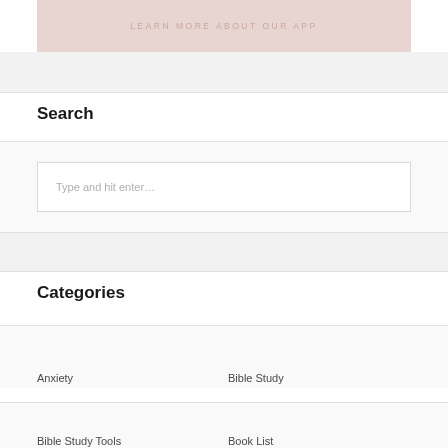LEARN MORE ABOUT OUR APP
Search
Type and hit enter...
Categories
Anxiety
Bible Study
Bible Study Tools
Book List